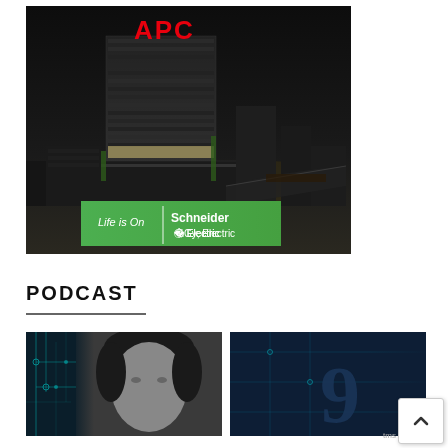[Figure (photo): APC by Schneider Electric advertisement banner showing a dark nighttime cityscape with a modern office building illuminated at night, APC logo in red at top left, green 'Life is On | Schneider Electric' banner overlay at bottom]
PODCAST
[Figure (photo): Podcast thumbnail showing a circuit board background with a person's face (black and white photo of a man) overlaid on a teal circuit board background]
[Figure (photo): Podcast thumbnail showing a dark blue circuit board background with partial number/graphic visible, partially obscured by scroll-to-top button overlay]